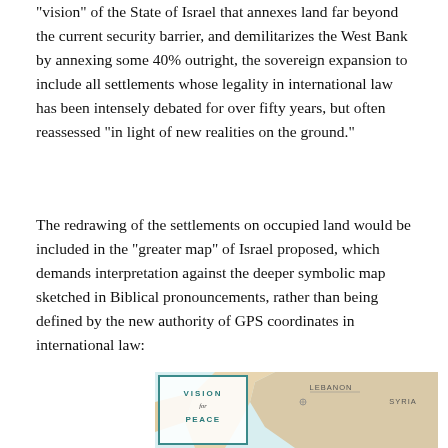“vision” of the State of Israel that annexes land far beyond the current security barrier, and demilitarizes the West Bank by annexing some 40% outright, the sovereign expansion to include all settlements whose legality in international law has been intensely debated for over fifty years, but often reassessed “in light of new realities on the ground.”
The redrawing of the settlements on occupied land would be included in the “greater map” of Israel proposed, which demands interpretation against the deeper symbolic map sketched in Biblical pronouncements, rather than being defined by the new authority of GPS coordinates in international law:
[Figure (map): Partial view of a 'Vision for Peace' map showing Lebanon and Syria labels alongside the northern region of Israel/West Bank, with a teal-bordered title box in the lower left reading 'VISION for PEACE'.]